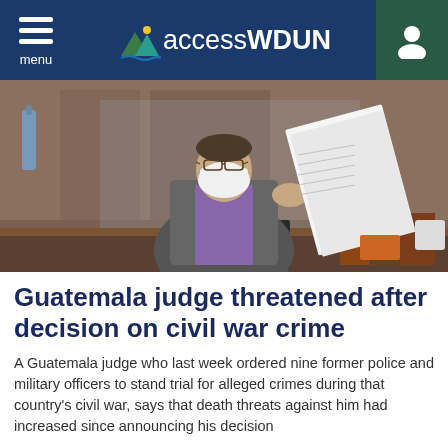menu | accessWDUN
[Figure (photo): A judge wearing a white face mask and glasses sits at a desk in a courtroom, holding up and reviewing a stack of documents. He is wearing a purple shirt and gray jacket. Books and papers are visible on the desk.]
Guatemala judge threatened after decision on civil war crime
A Guatemala judge who last week ordered nine former police and military officers to stand trial for alleged crimes during that country's civil war, says that death threats against him had increased since announcing his decision
9:27PM ( 3 hours ago )